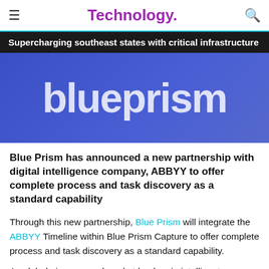Technology.
Supercharging southeast states with critical infrastructure
[Figure (photo): Blue Prism logo text in white on a blue/purple background]
Blue Prism has announced a new partnership with digital intelligence company, ABBYY to offer complete process and task discovery as a standard capability
Through this new partnership, Blue Prism will integrate the ABBYY Timeline within Blue Prism Capture to offer complete process and task discovery as a standard capability.
As global pioneers and market leaders in intelligent